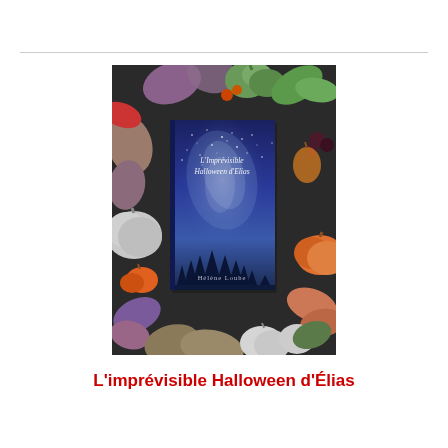[Figure (photo): A book titled 'L'imprévisible Halloween d'Élias' by Hélène Loube, shown lying on a flat lay arrangement of autumn/Halloween decorations including colorful pumpkins, leaves, berries, and other seasonal items. The book cover features a dark blue night sky with stars and silhouetted pine trees.]
L'imprévisible Halloween d'Élias